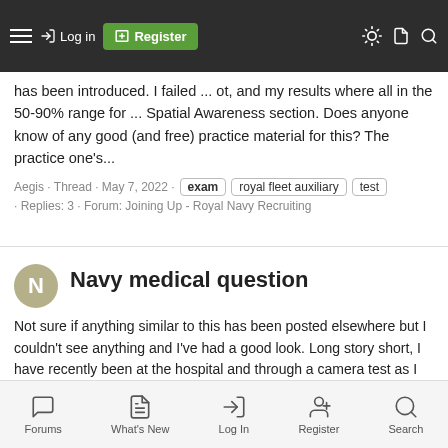Navigation bar with hamburger menu, Log in, Register, and search icons
has been introduced. I failed ... ot, and my results where all in the 50-90% range for ... Spatial Awareness section. Does anyone know of any good (and free) practice material for this? The practice one's...
Aegis · Thread · May 7, 2022 · exam · royal fleet auxiliary · test · Replies: 3 · Forum: Joining Up - Royal Navy Recruiting
Navy medical question
Not sure if anything similar to this has been posted elsewhere but I couldn't see anything and I've had a good look. Long story short, I have recently been at the hospital and through a camera test as I was getting an upset stomach often, been told I had a few peptic ulcers inside me. It was...
NathJameson · Thread · Aug 6, 2016 · crohns · exam · examination · gastroenterology · medical · ulcers · Replies: 7 · Forum: Health & Fitness
Forums | What's New | Log In | Register | Search